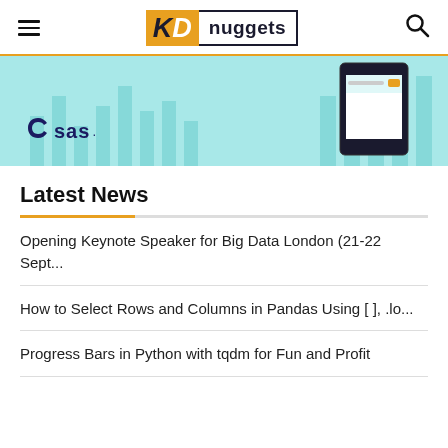KD nuggets
[Figure (photo): SAS advertisement banner with teal/cyan background, SAS logo on the left, bar chart elements, and a tablet device on the right]
Latest News
Opening Keynote Speaker for Big Data London (21-22 Sept...
How to Select Rows and Columns in Pandas Using [ ], .lo...
Progress Bars in Python with tqdm for Fun and Profit